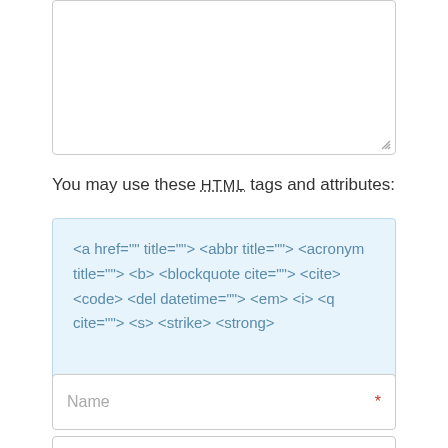[Figure (other): Textarea input box with resize handle at bottom-right]
You may use these HTML tags and attributes:
<a href="" title=""> <abbr title=""> <acronym title=""> <b> <blockquote cite=""> <cite> <code> <del datetime=""> <em> <i> <q cite=""> <s> <strike> <strong>
[Figure (other): Name input field with asterisk required marker]
[Figure (other): Email input field with asterisk required marker (partially visible)]